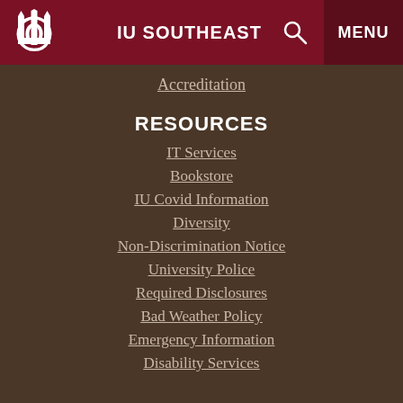IU SOUTHEAST
Accreditation
RESOURCES
IT Services
Bookstore
IU Covid Information
Diversity
Non-Discrimination Notice
University Police
Required Disclosures
Bad Weather Policy
Emergency Information
Disability Services